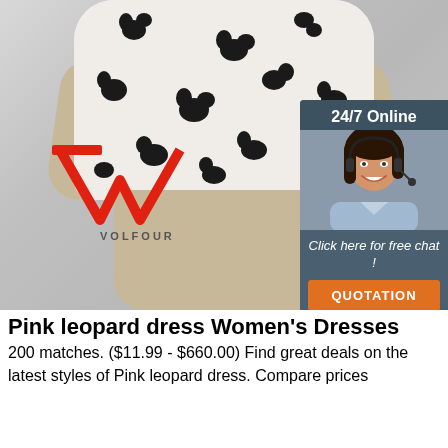[Figure (photo): Mannequin wearing a white and black floral short-sleeve top with beige lower body, with VOLFOUR brand logo overlay in red]
[Figure (infographic): 24/7 Online chat widget with customer service agent photo, 'Click here for free chat!' text, and orange QUOTATION button]
Pink leopard dress Women's Dresses
200 matches. ($11.99 - $660.00) Find great deals on the latest styles of Pink leopard dress. Compare prices